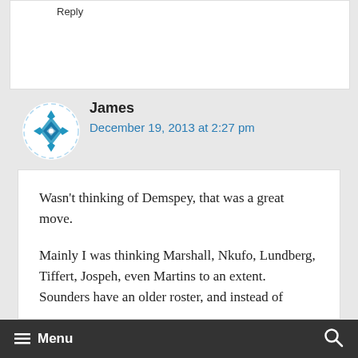Reply
[Figure (logo): Blue geometric diamond/snowflake avatar icon for user James]
James
December 19, 2013 at 2:27 pm
Wasn't thinking of Demspey, that was a great move.
Mainly I was thinking Marshall, Nkufo, Lundberg, Tiffert, Jospeh, even Martins to an extent. Sounders have an older roster, and instead of
Menu